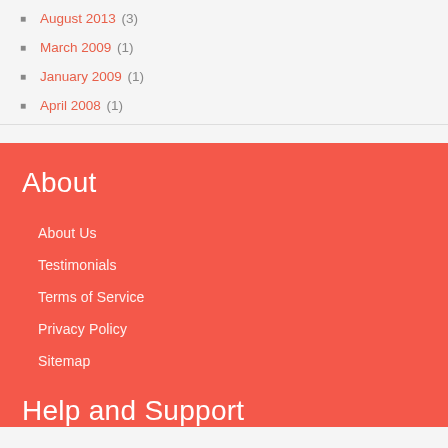August 2013 (3)
March 2009 (1)
January 2009 (1)
April 2008 (1)
About
About Us
Testimonials
Terms of Service
Privacy Policy
Sitemap
Help and Support